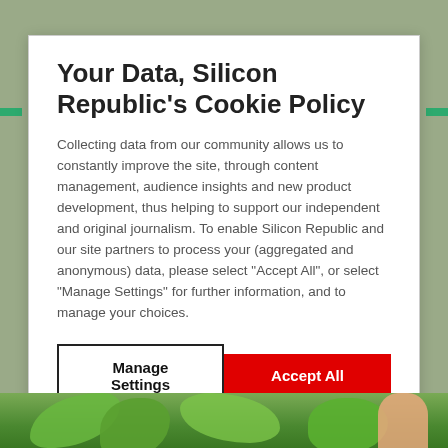Your Data, Silicon Republic's Cookie Policy
Collecting data from our community allows us to constantly improve the site, through content management, audience insights and new product development, thus helping to support our independent and original journalism. To enable Silicon Republic and our site partners to process your (aggregated and anonymous) data, please select "Accept All", or select "Manage Settings" for further information, and to manage your choices.
Manage Settings
Accept All